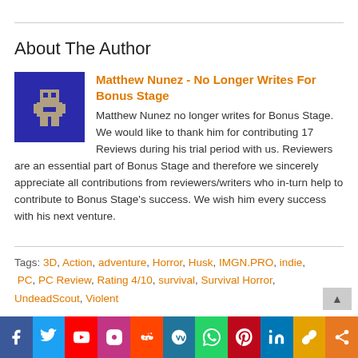About The Author
Matthew Nunez - No Longer Writes For Bonus Stage

Matthew Nunez no longer writes for Bonus Stage. We would like to thank him for contributing 17 Reviews during his trial period with us. Reviewers are an essential part of Bonus Stage and therefore we sincerely appreciate all contributions from reviewers/writers who in-turn help to contribute to Bonus Stage's success. We wish him every success with his next venture.
Tags: 3D, Action, adventure, Horror, Husk, IMGN.PRO, indie, PC, PC Review, Rating 4/10, survival, Survival Horror, UndeadScout, Violent